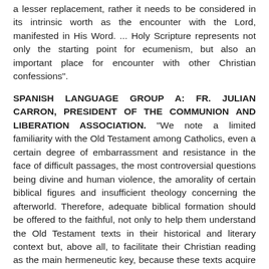a lesser replacement, rather it needs to be considered in its intrinsic worth as the encounter with the Lord, manifested in His Word. ... Holy Scripture represents not only the starting point for ecumenism, but also an important place for encounter with other Christian confessions".
SPANISH LANGUAGE GROUP A: FR. JULIAN CARRON, PRESIDENT OF THE COMMUNION AND LIBERATION ASSOCIATION. "We note a limited familiarity with the Old Testament among Catholics, even a certain degree of embarrassment and resistance in the face of difficult passages, the most controversial questions being divine and human violence, the amorality of certain biblical figures and insufficient theology concerning the afterworld. Therefore, adequate biblical formation should be offered to the faithful, not only to help them understand the Old Testament texts in their historical and literary context but, above all, to facilitate their Christian reading as the main hermeneutic key, because these texts acquire and reveal their full meaning in the New Testament. ... The task of announcing Christ is the responsibility of each baptised person. In addition to the homily, which is the form of preaching specific to liturgical